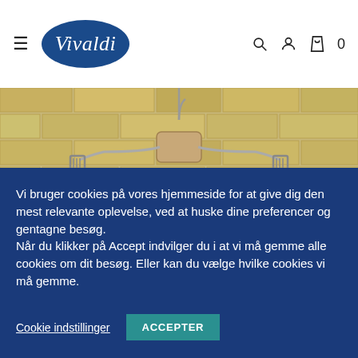[Figure (logo): Vivaldi logo — white italic script text on dark blue oval background]
[Figure (photo): Dark navy shorts or swim trunks hanging on a metal clothes hanger with wooden top piece, against a yellow/beige brick wall background]
Vi bruger cookies på vores hjemmeside for at give dig den mest relevante oplevelse, ved at huske dine preferencer og gentagne besøg.
Når du klikker på Accept indvilger du i at vi må gemme alle cookies om dit besøg. Eller kan du vælge hvilke cookies vi må gemme.
Cookie indstillinger
ACCEPTER